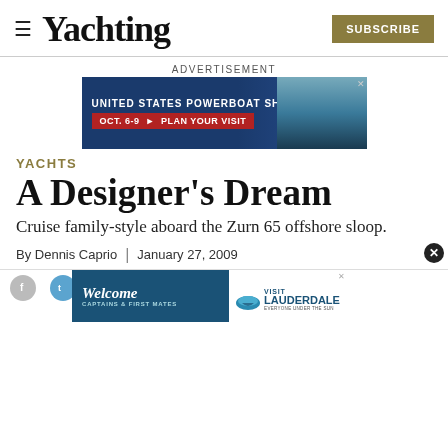≡ Yachting | SUBSCRIBE
ADVERTISEMENT
[Figure (infographic): United States Powerboat Show advertisement banner: navy blue background with 'UNITED STATES POWERBOAT SHOW' in white, red bar with 'OCT. 6-9 ► PLAN YOUR VISIT', and image of boats on the right]
YACHTS
A Designer's Dream
Cruise family-style aboard the Zurn 65 offshore sloop.
By Dennis Caprio  |  January 27, 2009
[Figure (infographic): Welcome Captains & First Mates advertisement banner with Visit Lauderdale logo showing sun and water graphic, on white background. Close button visible.]